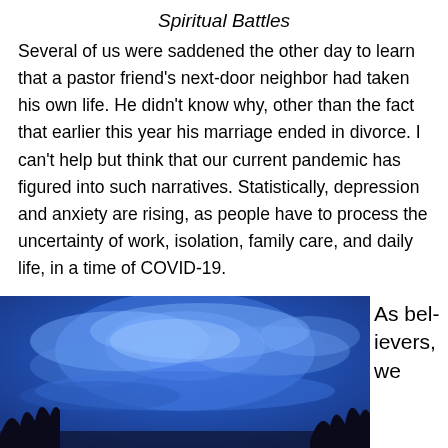Spiritual Battles
Several of us were saddened the other day to learn that a pastor friend's next-door neighbor had taken his own life. He didn't know why, other than the fact that earlier this year his marriage ended in divorce. I can't help but think that our current pandemic has figured into such narratives. Statistically, depression and anxiety are rising, as people have to process the uncertainty of work, isolation, family care, and daily life, in a time of COVID-19.
[Figure (photo): A dramatic blue sky with large cloud formations, silhouettes of trees at the bottom corners.]
As believers, we